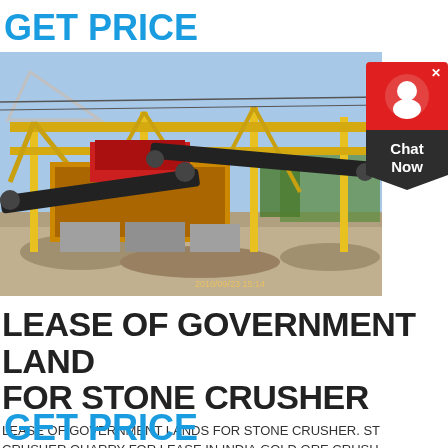GET PRICE
[Figure (photo): Photograph of a yellow stone crusher machine at a quarry/mining site, with conveyor belts and support structures, timestamp 2010/09/23 15:14]
LEASE OF GOVERNMENT LAND FOR STONE CRUSHER
LEASE OF GOVERNMENT LANDS FOR STONE CRUSHER. STONE CRUSHER QUARRY FOR LEASE IN INDIA,GOLD ORE CRUSHER FOR SALE . FOR COMMON USE MINOR MINERALS QUARRY LEASE IN GOVERNMENT LANDS SHALL BE GRANTED THROUGH THE
GET PRICE